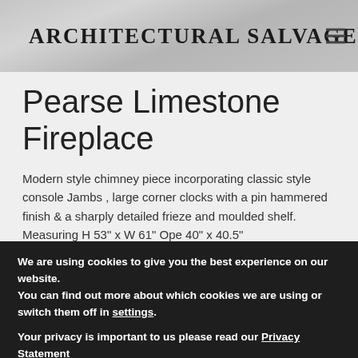ARCHITECTURAL SALVAGE
Pearse Limestone Fireplace
Modern style chimney piece incorporating classic style console Jambs , large corner clocks with a pin hammered finish & a sharply detailed frieze and moulded shelf. Measuring H 53" x W 61" Ope 40" x 40.5"
We are using cookies to give you the best experience on our website.
You can find out more about which cookies we are using or switch them off in settings.
Your privacy is important to us please read our Privacy Statement
Accept